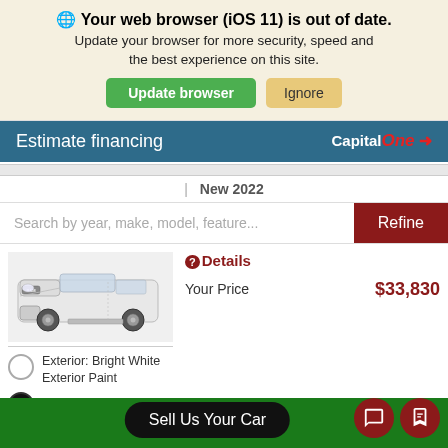🌐 Your web browser (iOS 11) is out of date. Update your browser for more security, speed and the best experience on this site.
Update browser | Ignore
Estimate financing
New 2022
Search by year, make, model, feature...
Refine
[Figure (photo): White RAM truck/van front view]
❓Details
Your Price  $33,830
Exterior: Bright White Exterior Paint
Interior: Black Interior Color
Sell Us Your Car
Get E-Price